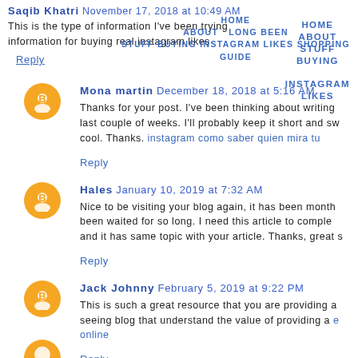This is the type of information I've been trying information for buying real instagram likes
Reply
Mona martin December 18, 2018 at 5:16 AM
Thanks for your post. I've been thinking about writing last couple of weeks. I'll probably keep it short and sw cool. Thanks. instagram como saber quien mira tu
Reply
Hales January 10, 2019 at 7:32 AM
Nice to be visiting your blog again, it has been month been waited for so long. I need this article to comple and it has same topic with your article. Thanks, great s
Reply
Jack Johnny February 5, 2019 at 9:22 PM
This is such a great resource that you are providing a seeing blog that understand the value of providing a online
Reply